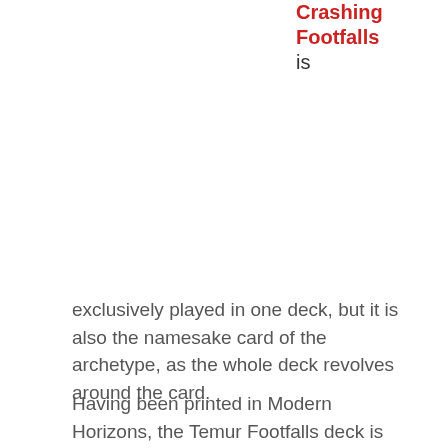Crashing Footfalls is
exclusively played in one deck, but it is also the namesake card of the archetype, as the whole deck revolves around the card.
Having been printed in Modern Horizons, the Temur Footfalls deck is essentially based around